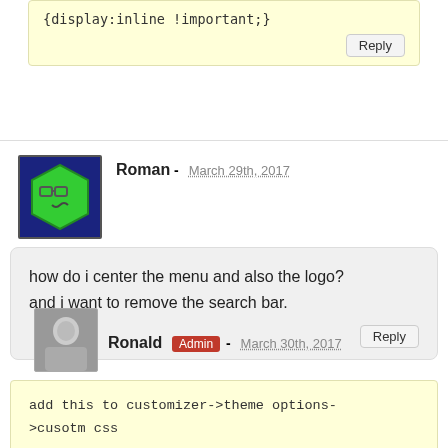{display:inline !important;}
Reply
[Figure (illustration): Avatar for Roman: green hexagon cartoon face on dark blue background]
Roman - March 29th, 2017
how do i center the menu and also the logo?
and i want to remove the search bar.
Reply
[Figure (photo): Avatar for Ronald: grayscale photo of a person]
Ronald Admin - March 30th, 2017
add this to customizer->theme options->cusotm css

1#header .search-form
2{display:none;}